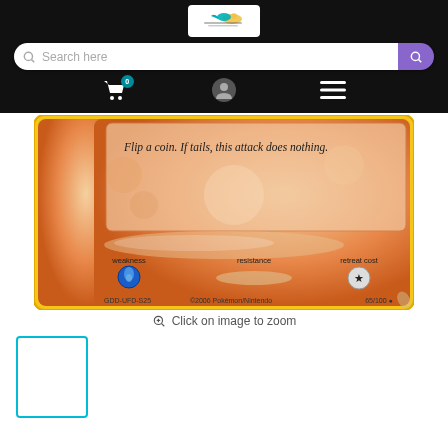[Figure (logo): Website logo with hummingbird / bird icon in teal and yellow colors on white background]
[Figure (screenshot): Search bar UI: white rounded input with 'Search here' placeholder text and purple search button on right, on black background]
[Figure (screenshot): Navigation icon row: shopping cart with badge '0', user profile icon, and hamburger menu icon on black background]
[Figure (photo): Close-up of bottom portion of a Pokemon card (65/100) showing orange textured background, text 'Flip a coin. If tails, this attack does nothing.', weakness (water symbol), resistance, retreat cost (star symbol) sections, GDD-UFD-S25 code, ©2006 Pokémon/Nintendo, card number 65/100, yellow border]
Click on image to zoom
[Figure (screenshot): Small thumbnail image placeholder with teal/cyan border, white interior, representing a card thumbnail]